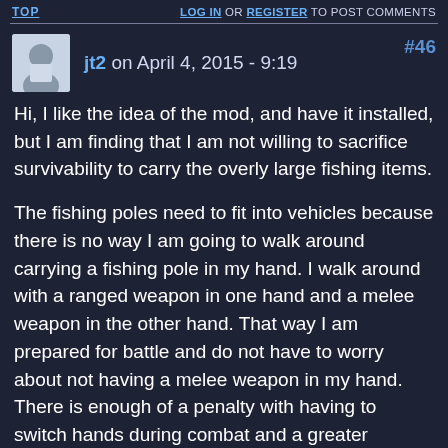TOP   LOG IN OR REGISTER TO POST COMMENTS
jt2 on April 4, 2015 - 9:19   #46
Hi, I like the idea of the mod, and have it installed, but I am finding that I am not willing to sacrifice survivability to carry the overly large fishing items.
The fishing poles need to fit into vehicles because there is no way I am going to walk around carrying a fishing pole in my hand. I walk around with a ranged weapon in one hand and a melee weapon in the other hand. That way I am prepared for battle and do not have to worry about not having a melee weapon in my hand. There is enough of a penalty with having to switch hands during combat and a greater penalty